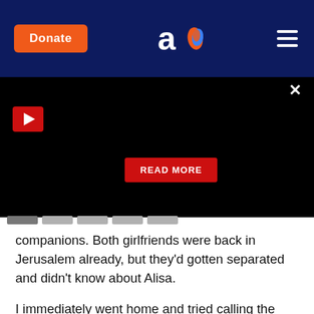Donate | Aish logo | Navigation menu
[Figure (screenshot): Black video player panel with red play button, X close button, and READ MORE red button overlay]
companions. Both girlfriends were back in Jerusalem already, but they'd gotten separated and didn't know about Alisa.
I immediately went home and tried calling the Israeli consulate in New York City, but the phone was busy. So I called the State Department in Washington, which has an office to handle crises of Americans overseas. I provided Alisa's passport number, her address in Jerusalem, and the phone number of the girls she was